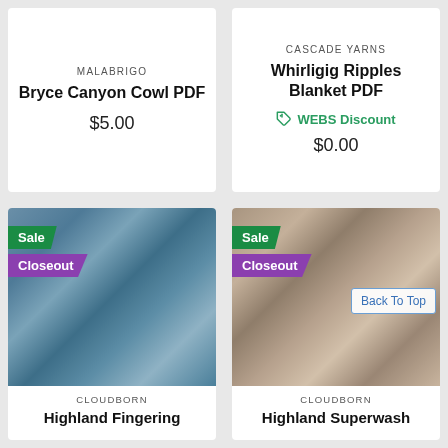MALABRIGO
Bryce Canyon Cowl PDF
$5.00
CASCADE YARNS
Whirligig Ripples Blanket PDF
WEBS Discount
$0.00
[Figure (photo): Blue-gray yarn skeins with Sale and Closeout tags]
CLOUDBORN
Highland Fingering
[Figure (photo): Taupe/brown yarn skeins with Sale and Closeout tags and Back To Top button]
CLOUDBORN
Highland Superwash